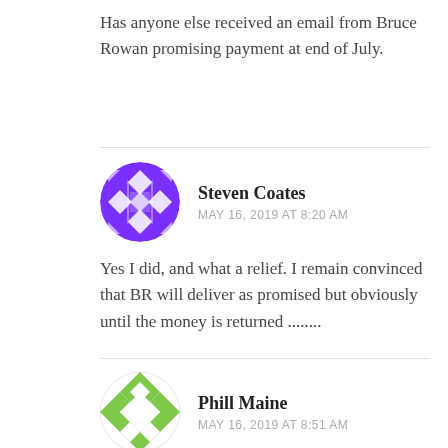Has anyone else received an email from Bruce Rowan promising payment at end of July.
Steven Coates
MAY 16, 2019 AT 8:20 AM
Yes I did, and what a relief. I remain convinced that BR will deliver as promised but obviously until the money is returned ........
Phill Maine
MAY 16, 2019 AT 8:51 AM